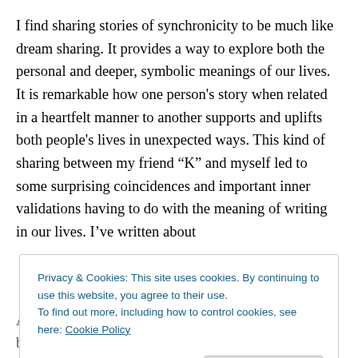I find sharing stories of synchronicity to be much like dream sharing. It provides a way to explore both the personal and deeper, symbolic meanings of our lives. It is remarkable how one person's story when related in a heartfelt manner to another supports and uplifts both people's lives in unexpected ways. This kind of sharing between my friend “K” and myself led to some surprising coincidences and important inner validations having to do with the meaning of writing in our lives. I’ve written about
Privacy & Cookies: This site uses cookies. By continuing to use this website, you agree to their use. To find out more, including how to control cookies, see here: Cookie Policy
Close and accept
Although we’ve never met in person, K and I have been sharing